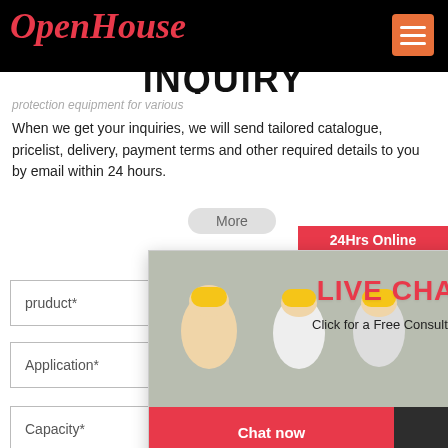OpenHouse
INQUIRY
protection equipment for various
When we get your inquiries, we will send tailored catalogue, pricelist, delivery, payment terms and other required details to you by email within 24 hours.
[Figure (screenshot): Live Chat popup overlay with workers photo, LIVE CHAT title, Click for a Free Consultation subtitle, Chat now and Chat later buttons]
pruduct*
Application*
Capacity*
Name*
E-mail*
[Figure (screenshot): Sidebar with 24Hrs Online header, customer service representative photo, Need questions & suggestion? text, Chat Now button, Enquiry label, mumumugoods label]